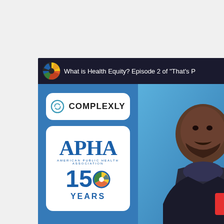[Figure (screenshot): YouTube video thumbnail screenshot showing 'What is Health Equity? Episode 2 of That's P...' video. Left side shows Complexly and APHA (American Public Health Association) 150 Years logos on a blue background. Right side shows a man in a dark turtleneck and blazer on a blue background. Bottom shows white italic text 'What is Hea...' on a dark navy background.]